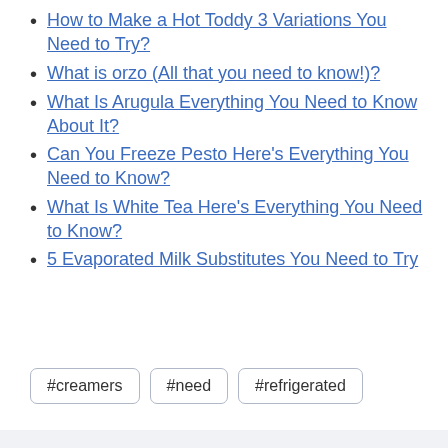How to Make a Hot Toddy 3 Variations You Need to Try?
What is orzo (All that you need to know!)?
What Is Arugula Everything You Need to Know About It?
Can You Freeze Pesto Here’s Everything You Need to Know?
What Is White Tea Here’s Everything You Need to Know?
5 Evaporated Milk Substitutes You Need to Try
#creamers  #need  #refrigerated